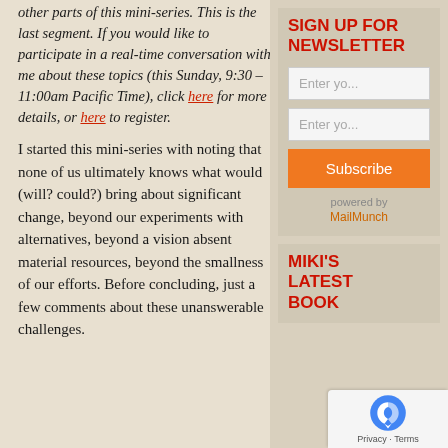other parts of this mini-series. This is the last segment. If you would like to participate in a real-time conversation with me about these topics (this Sunday, 9:30 – 11:00am Pacific Time), click here for more details, or here to register.
I started this mini-series with noting that none of us ultimately knows what would (will? could?) bring about significant change, beyond our experiments with alternatives, beyond a vision absent material resources, beyond the smallness of our efforts. Before concluding, just a few comments about these unanswerable challenges.
SIGN UP FOR NEWSLETTER
Enter yo...
Enter yo...
Subscribe
powered by
MailMunch
MIKI'S LATEST BOOK